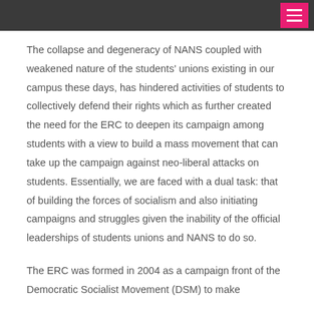[navigation header with hamburger menu]
The collapse and degeneracy of NANS coupled with weakened nature of the students' unions existing in our campus these days, has hindered activities of students to collectively defend their rights which as further created the need for the ERC to deepen its campaign among students with a view to build a mass movement that can take up the campaign against neo-liberal attacks on students. Essentially, we are faced with a dual task: that of building the forces of socialism and also initiating campaigns and struggles given the inability of the official leaderships of students unions and NANS to do so.
The ERC was formed in 2004 as a campaign front of the Democratic Socialist Movement (DSM) to make